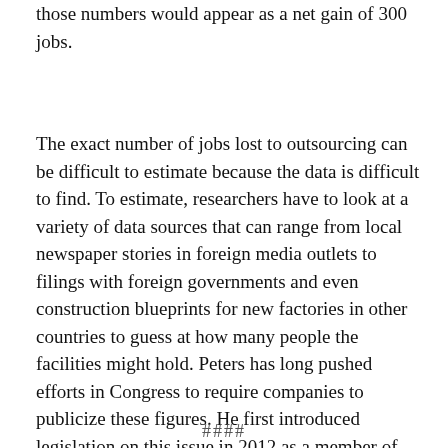those numbers would appear as a net gain of 300 jobs.
The exact number of jobs lost to outsourcing can be difficult to estimate because the data is difficult to find. To estimate, researchers have to look at a variety of data sources that can range from local newspaper stories in foreign media outlets to filings with foreign governments and even construction blueprints for new factories in other countries to guess at how many people the facilities might hold. Peters has long pushed efforts in Congress to require companies to publicize these figures. He first introduced legislation on this issue in 2012 as a member of the House of Representatives.
####